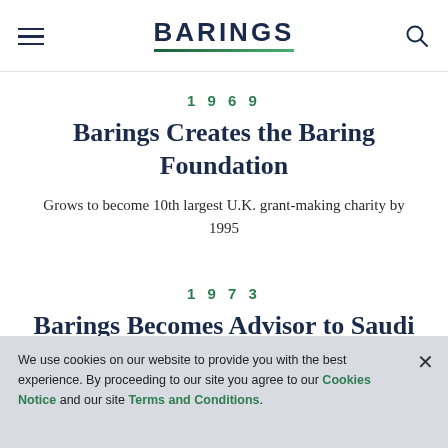BARINGS
1969
Barings Creates the Baring Foundation
Grows to become 10th largest U.K. grant-making charity by 1995
1973
Barings Becomes Advisor to Saudi Arabian Monetary Authority
We use cookies on our website to provide you with the best experience. By proceeding to our site you agree to our Cookies Notice and our site Terms and Conditions.